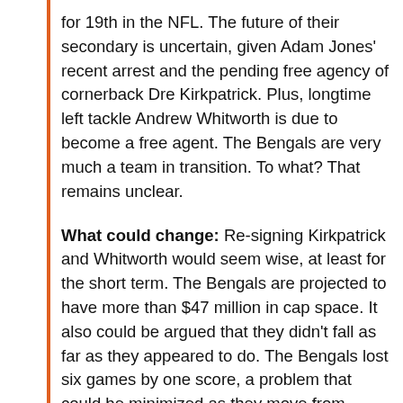for 19th in the NFL. The future of their secondary is uncertain, given Adam Jones' recent arrest and the pending free agency of cornerback Dre Kirkpatrick. Plus, longtime left tackle Andrew Whitworth is due to become a free agent. The Bengals are very much a team in transition. To what? That remains unclear.
What could change: Re-signing Kirkpatrick and Whitworth would seem wise, at least for the short term. The Bengals are projected to have more than $47 million in cap space. It also could be argued that they didn't fall as far as they appeared to do. The Bengals lost six games by one score, a problem that could be minimized as they move from place-kicker Mike Nugent to Randy Bullock. Perhaps coach Marvin Lewis, who is seeking a contract extension, will use this offseason as a reset.